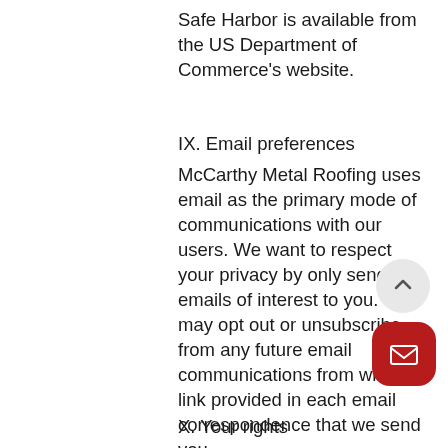Safe Harbor is available from the US Department of Commerce's website.
IX. Email preferences
McCarthy Metal Roofing uses email as the primary mode of communications with our users. We want to respect your privacy by only sending emails of interest to you. You may opt out or unsubscribe from any future email communications from within a link provided in each email correspondence that we send you.
X. Your rights